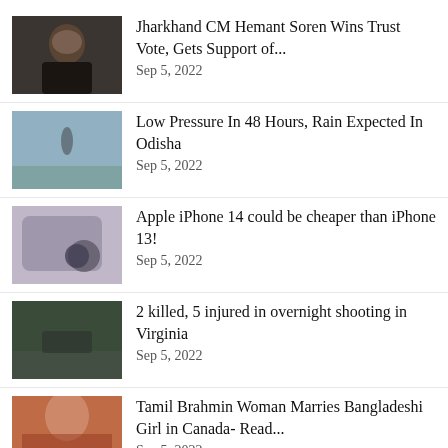Jharkhand CM Hemant Soren Wins Trust Vote, Gets Support of... Sep 5, 2022
Low Pressure In 48 Hours, Rain Expected In Odisha Sep 5, 2022
Apple iPhone 14 could be cheaper than iPhone 13! Sep 5, 2022
2 killed, 5 injured in overnight shooting in Virginia Sep 5, 2022
Tamil Brahmin Woman Marries Bangladeshi Girl in Canada- Read... Sep 5, 2022
WhatsApp may let businesses manage chats